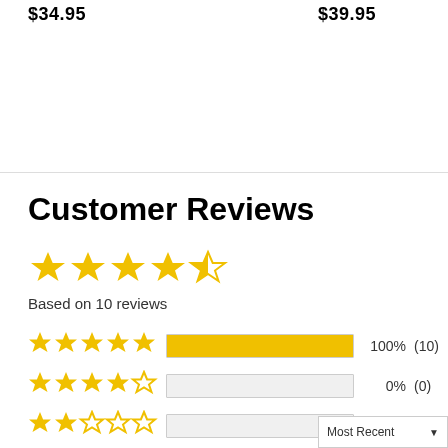$34.95
$39.95
Customer Reviews
Based on 10 reviews
[Figure (bar-chart): Customer Reviews Rating Distribution]
Most Recent